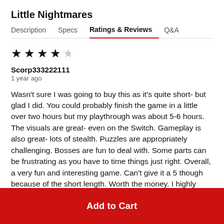Little Nightmares
Description | Specs | Ratings & Reviews | Q&A
[Figure (other): 4-star rating: 3 filled stars and 1 empty star]
Scorp333222111
1 year ago
Wasn't sure I was going to buy this as it's quite short- but glad I did. You could probably finish the game in a little over two hours but my playthrough was about 5-6 hours. The visuals are great- even on the Switch. Gameplay is also great- lots of stealth. Puzzles are appropriately challenging. Bosses are fun to deal with. Some parts can be frustrating as you have to time things just right. Overall, a very fun and interesting game. Can't give it a 5 though because of the short length. Worth the money. I highly
Add to Cart